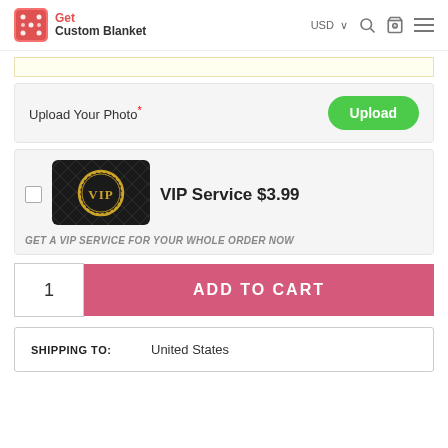[Figure (logo): Get Custom Blanket logo with icon and text]
Upload Your Photo*
Upload
[Figure (other): VIP badge image on dark quilted background]
VIP Service $3.99
GET A VIP SERVICE FOR YOUR WHOLE ORDER NOW
1
ADD TO CART
SHIPPING TO:
United States